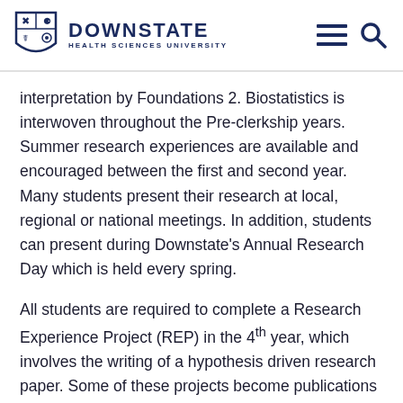DOWNSTATE HEALTH SCIENCES UNIVERSITY
interpretation by Foundations 2. Biostatistics is interwoven throughout the Pre-clerkship years. Summer research experiences are available and encouraged between the first and second year. Many students present their research at local, regional or national meetings. In addition, students can present during Downstate's Annual Research Day which is held every spring.
All students are required to complete a Research Experience Project (REP) in the 4th year, which involves the writing of a hypothesis driven research paper. Some of these projects become publications that